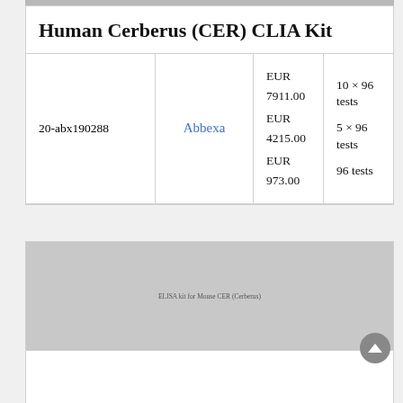Human Cerberus (CER) CLIA Kit
| ID | Supplier | Price | Size |
| --- | --- | --- | --- |
| 20-abx190288 | Abbexa | EUR 7911.00
EUR 4215.00
EUR 973.00 | 10 × 96 tests
5 × 96 tests
96 tests |
[Figure (photo): Gray placeholder image for ELISA kit for Mouse CER (Cerberus) product]
ELISA kit for Mouse CER (Cerberus)
| ID | Supplier | Price | Size |
| --- | --- | --- | --- |
|  |  | 1 plate of 96… |  |